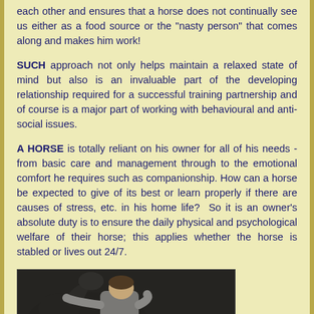each other and ensures that a horse does not continually see us either as a food source or the "nasty person" that comes along and makes him work!
SUCH approach not only helps maintain a relaxed state of mind but also is an invaluable part of the developing relationship required for a successful training partnership and of course is a major part of working with behavioural and anti-social issues.
A HORSE is totally reliant on his owner for all of his needs - from basic care and management through to the emotional comfort he requires such as companionship. How can a horse be expected to give of its best or learn properly if there are causes of stress, etc. in his home life?  So it is an owner's absolute duty is to ensure the daily physical and psychological welfare of their horse; this applies whether the horse is stabled or lives out 24/7.
[Figure (photo): A person leaning close to a dark horse, viewed from behind/side showing the person's back and the horse's head in close proximity.]
BEING